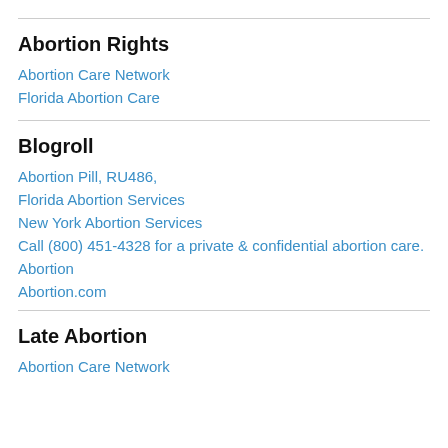Abortion Rights
Abortion Care Network
Florida Abortion Care
Blogroll
Abortion Pill, RU486,
Florida Abortion Services
New York Abortion Services
Call (800) 451-4328 for a private & confidential abortion care.
Abortion
Abortion.com
Late Abortion
Abortion Care Network